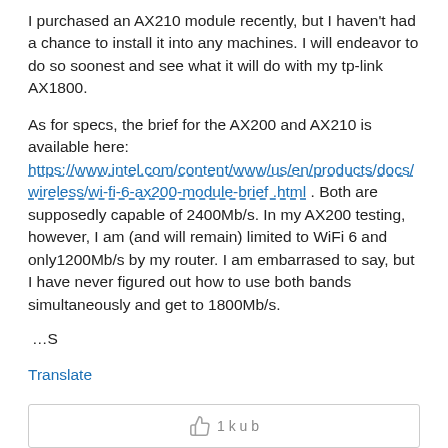I purchased an AX210 module recently, but I haven't had a chance to install it into any machines. I will endeavor to do so soonest and see what it will do with my tp-link AX1800.
As for specs, the brief for the AX200 and AX210 is available here: https://www.intel.com/content/www/us/en/products/docs/wireless/wi-fi-6-ax200-module-brief.html . Both are supposedly capable of 2400Mb/s. In my AX200 testing, however, I am (and will remain) limited to WiFi 6 and only1200Mb/s by my router. I am embarrased to say, but I have never figured out how to use both bands simultaneously and get to 1800Mb/s.
…S
Translate